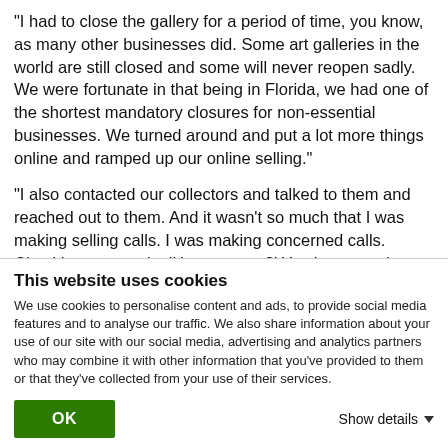"I had to close the gallery for a period of time, you know, as many other businesses did. Some art galleries in the world are still closed and some will never reopen sadly. We were fortunate in that being in Florida, we had one of the shortest mandatory closures for non-essential businesses. We turned around and put a lot more things online and ramped up our online selling."
"I also contacted our collectors and talked to them and reached out to them. And it wasn't so much that I was making selling calls. I was making concerned calls. Checking on people, 'How are you?' You know, we have strong relationships that have developed over 23 years in business. And we contacted the
This website uses cookies
We use cookies to personalise content and ads, to provide social media features and to analyse our traffic. We also share information about your use of our site with our social media, advertising and analytics partners who may combine it with other information that you've provided to them or that they've collected from your use of their services.
OK
Show details